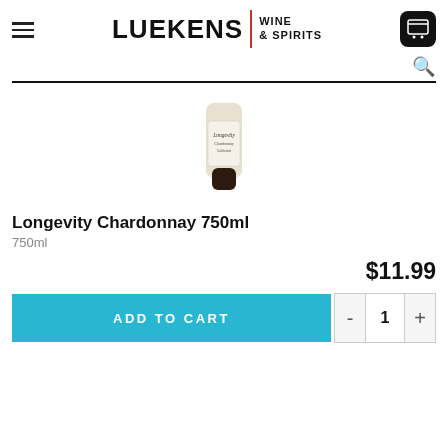Luekens Wine & Spirits
[Figure (photo): Partial view of a Longevity Chardonnay wine bottle, bottom portion visible with label reading 'Longevity' and 'Chardonnay California']
Longevity Chardonnay 750ml
750ml
$11.99
ADD TO CART